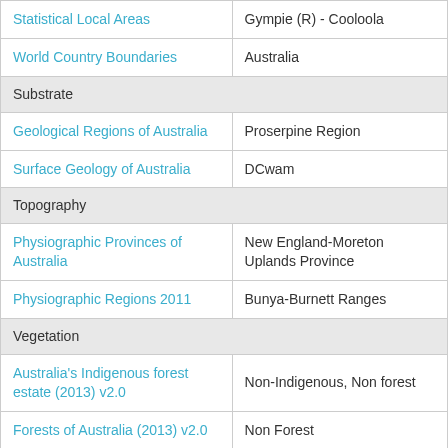| Layer | Value |
| --- | --- |
| Statistical Local Areas | Gympie (R) - Cooloola |
| World Country Boundaries | Australia |
| Substrate |  |
| Geological Regions of Australia | Proserpine Region |
| Surface Geology of Australia | DCwam |
| Topography |  |
| Physiographic Provinces of Australia | New England-Moreton Uplands Province |
| Physiographic Regions 2011 | Bunya-Burnett Ranges |
| Vegetation |  |
| Australia's Indigenous forest estate (2013) v2.0 | Non-Indigenous, Non forest |
| Forests of Australia (2013) v2.0 | Non Forest |
| Forests of Australia 2018B | Non forest |
| IGBP Land Cover vegetation classification scheme (2011) | Woody savannas |